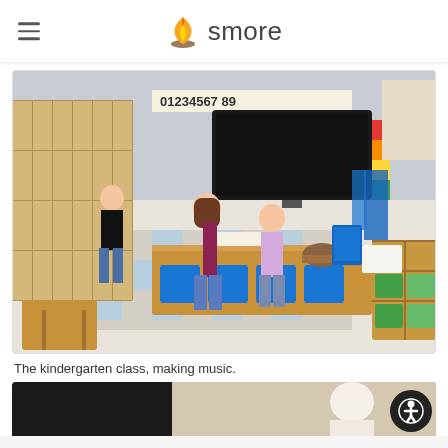smore
[Figure (photo): Kindergarten classroom with children standing around wooden tables with musical instruments and materials. Wooden storage cubbies with blue bins along the wall, lockers in background, and a smart TV screen visible.]
The kindergarten class, making music.
[Figure (photo): Partial view of another classroom photo, bottom strip showing the beginning of a second image.]